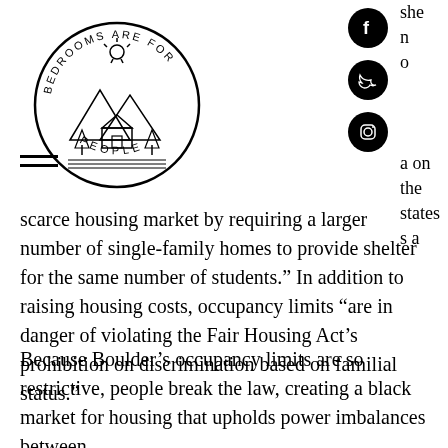[Figure (logo): Bedrooms Are For People circular logo with mountains, house, and trees]
[Figure (infographic): Facebook, Twitter, and Instagram social media icons (black circles)]
she n o a on the states s a scarce housing market by requiring a larger number of single-family homes to provide shelter for the same number of students.” In addition to raising housing costs, occupancy limits “are in danger of violating the Fair Housing Act’s prohibition on discrimination based on familial status.”
Because Boulder’s occupancy limits are so restrictive, people break the law, creating a black market for housing that upholds power imbalances between